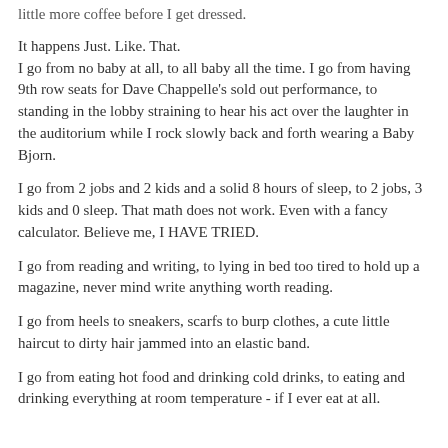little more coffee before I get dressed.
It happens Just. Like. That.
I go from no baby at all, to all baby all the time. I go from having 9th row seats for Dave Chappelle's sold out performance, to standing in the lobby straining to hear his act over the laughter in the auditorium while I rock slowly back and forth wearing a Baby Bjorn.
I go from 2 jobs and 2 kids and a solid 8 hours of sleep, to 2 jobs, 3 kids and 0 sleep. That math does not work. Even with a fancy calculator. Believe me, I HAVE TRIED.
I go from reading and writing, to lying in bed too tired to hold up a magazine, never mind write anything worth reading.
I go from heels to sneakers, scarfs to burp clothes, a cute little haircut to dirty hair jammed into an elastic band.
I go from eating hot food and drinking cold drinks, to eating and drinking everything at room temperature - if I ever eat at all.